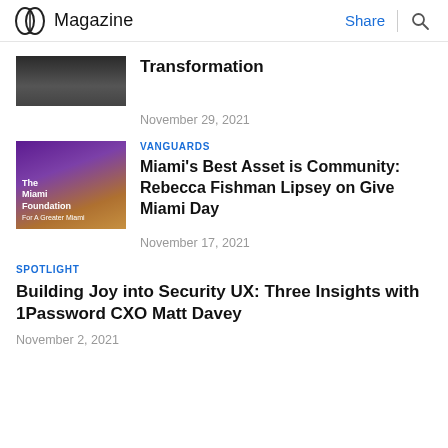Magazine | Share | Search
[Figure (photo): Partial photo of dark object, cropped at top of viewport]
Transformation
November 29, 2021
[Figure (photo): The Miami Foundation logo/building photo with purple and orange gradient background]
VANGUARDS
Miami's Best Asset is Community: Rebecca Fishman Lipsey on Give Miami Day
November 17, 2021
SPOTLIGHT
Building Joy into Security UX: Three Insights with 1Password CXO Matt Davey
November 2, 2021